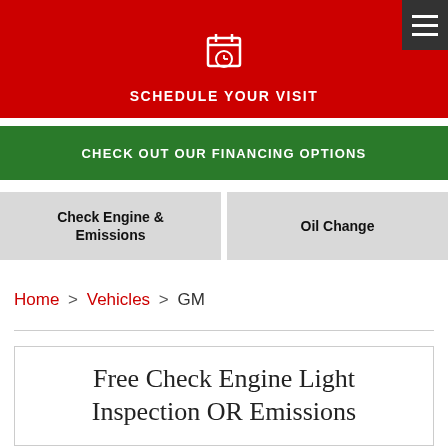[Figure (infographic): Red banner with schedule icon (clock with lines) and text SCHEDULE YOUR VISIT, plus a dark hamburger menu icon in top right corner]
CHECK OUT OUR FINANCING OPTIONS
Check Engine & Emissions
Oil Change
Home > Vehicles > GM
Free Check Engine Light Inspection OR Emissions